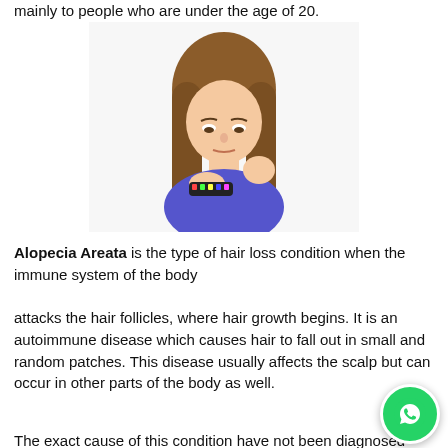mainly to people who are under the age of 20.
[Figure (photo): Young girl with long brown hair wearing a blue long-sleeve shirt, looking down at a hairbrush she is holding to her chest, against a white background.]
Alopecia Areata is the type of hair loss condition when the immune system of the body attacks the hair follicles, where hair growth begins. It is an autoimmune disease which causes hair to fall out in small and random patches. This disease usually affects the scalp but can occur in other parts of the body as well.
The exact cause of this condition have not been diagnosed